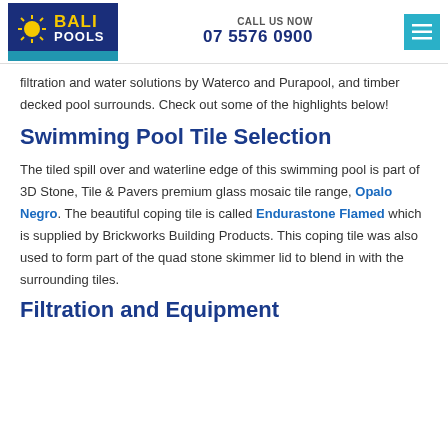CALL US NOW 07 5576 0900
filtration and water solutions by Waterco and Purapool, and timber decked pool surrounds. Check out some of the highlights below!
Swimming Pool Tile Selection
The tiled spill over and waterline edge of this swimming pool is part of 3D Stone, Tile & Pavers premium glass mosaic tile range, Opalo Negro. The beautiful coping tile is called Endurastone Flamed which is supplied by Brickworks Building Products. This coping tile was also used to form part of the quad stone skimmer lid to blend in with the surrounding tiles.
Filtration and Equipment